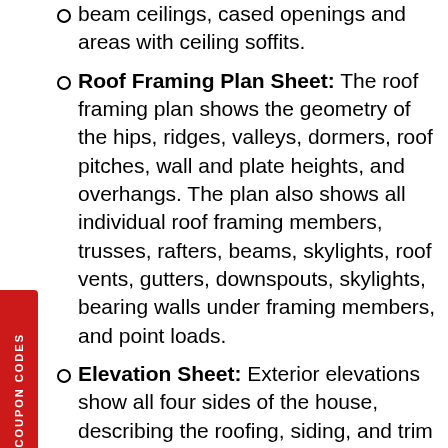beam ceilings, cased openings and areas with ceiling soffits.
Roof Framing Plan Sheet: The roof framing plan shows the geometry of the hips, ridges, valleys, dormers, roof pitches, wall and plate heights, and overhangs. The plan also shows all individual roof framing members, trusses, rafters, beams, skylights, roof vents, gutters, downspouts, skylights, bearing walls under framing members, and point loads.
Elevation Sheet: Exterior elevations show all four sides of the house, describing the roofing, siding, and trim materials, doors, windows, roof pitches, skylights, gutters, chimneys, wall heights, finish grade and overall building height.
Building Section Sheet: Building sections are vertical cuts through the house from the roof to the foundation. The sections illustrate the construction sequence from bottom to top starting with